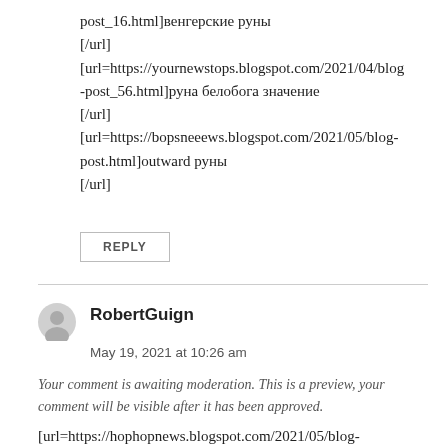post_16.html]венгерские руны
[/url]
[url=https://yournewstops.blogspot.com/2021/04/blog-post_56.html]руна белобога значение
[/url]
[url=https://bopsneeews.blogspot.com/2021/05/blog-post.html]outward руны
[/url]
REPLY
RobertGuign
May 19, 2021 at 10:26 am
Your comment is awaiting moderation. This is a preview, your comment will be visible after it has been approved.
[url=https://hophopnews.blogspot.com/2021/05/blog-post.html]